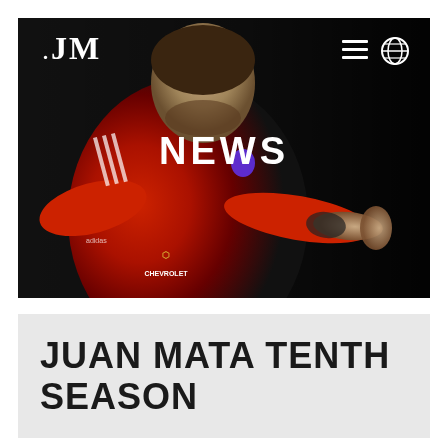[Figure (photo): Hero banner showing Juan Mata in Manchester United red Chevrolet jersey on dark background, with JM logo top left, hamburger menu and globe icon top right, and NEWS text overlaid center-right]
JUAN MATA TENTH SEASON